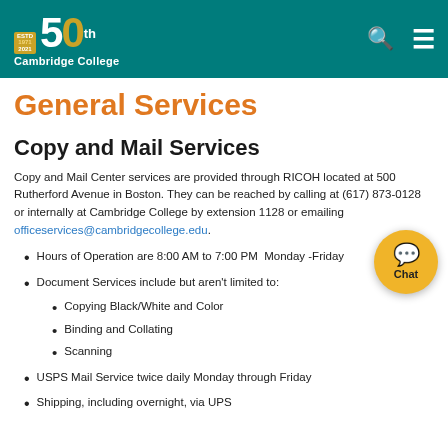Cambridge College — 50th Anniversary header with search and menu icons
General Services
Copy and Mail Services
Copy and Mail Center services are provided through RICOH located at 500 Rutherford Avenue in Boston. They can be reached by calling at (617) 873-0128 or internally at Cambridge College by extension 1128 or emailing officeservices@cambridgecollege.edu.
Hours of Operation are 8:00 AM to 7:00 PM  Monday -Friday
Document Services include but aren't limited to:
Copying Black/White and Color
Binding and Collating
Scanning
USPS Mail Service twice daily Monday through Friday
Shipping, including overnight, via UPS